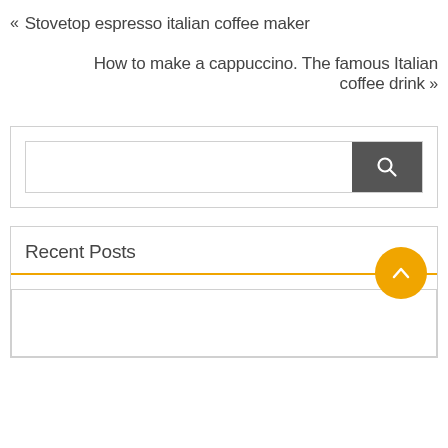« Stovetop espresso italian coffee maker
How to make a cappuccino. The famous Italian coffee drink »
[Figure (screenshot): Search box with text input field and dark grey search button with magnifying glass icon]
Recent Posts
[Figure (screenshot): Orange horizontal divider line with orange circular scroll-to-top button (chevron up) on the right end, followed by an empty recent post item box]